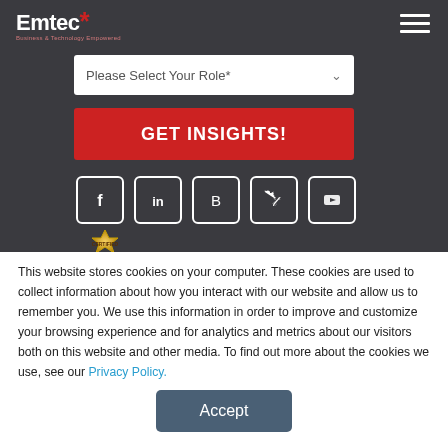Emtec - Business & Technology Empowered
Please Select Your Role*
GET INSIGHTS!
[Figure (infographic): Social media icons: Facebook, LinkedIn, Blogger, Twitter, YouTube — white icons with rounded square borders on dark background]
[Figure (illustration): Certified gold badge seal, partially visible at bottom of dark section]
This website stores cookies on your computer. These cookies are used to collect information about how you interact with our website and allow us to remember you. We use this information in order to improve and customize your browsing experience and for analytics and metrics about our visitors both on this website and other media. To find out more about the cookies we use, see our Privacy Policy.
Accept